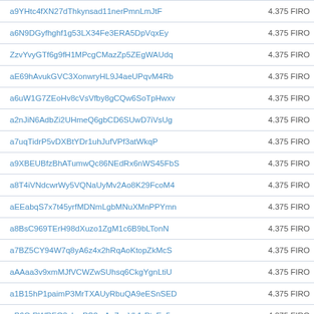| Code | Value |
| --- | --- |
| a9YHtc4fXN27dThkynsad11nerPmnLmJtF | 4.375 FIRO |
| a6N9DGyfhghf1g53LX34Fe3ERA5DpVqxEy | 4.375 FIRO |
| ZzvYvyGTf6g9fH1MPcgCMazZp5ZEgWAUdq | 4.375 FIRO |
| aE69hAvukGVC3XonwryHL9J4aeUPqvM4Rb | 4.375 FIRO |
| a6uW1G7ZEoHv8cVsVfby8gCQw6SoTpHwxv | 4.375 FIRO |
| a2nJiN6AdbZi2UHmeQ6gbCD6SUwD7iVsUg | 4.375 FIRO |
| a7uqTidrP5vDXBtYDr1uhJufVPf3atWkqP | 4.375 FIRO |
| a9XBEUBfzBhATumwQc86NEdRx6nWS45FbS | 4.375 FIRO |
| a8T4iVNdcwrWy5VQNaUyMv2Ao8K29FcoM4 | 4.375 FIRO |
| aEEabqS7x7t45yrfMDNmLgbMNuXMnPPYmn | 4.375 FIRO |
| a8BsC969TErH98dXuzo1ZgM1c6B9bLTonN | 4.375 FIRO |
| a7BZ5CY94W7q8yA6z4x2hRqAoKtopZkMcS | 4.375 FIRO |
| aAAaa3v9xmMJfVCWZwSUhsq6CkgYgnLtiU | 4.375 FIRO |
| a1B15hP1paimP3MrTXAUyRbuQA9eESnSED | 4.375 FIRO |
| aB6CrRWRFQ3sbcrPS2mAq7opVk1rPtzEa5 | 4.375 FIRO |